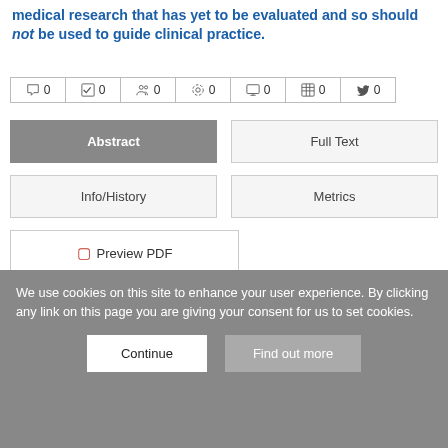medical research that has yet to be evaluated and so should not be used to guide clinical practice.
[Figure (infographic): Row of icon buttons with counts: comment 0, checkmark 0, people 0, settings 0, monitor 0, table 0, twitter 0]
[Figure (screenshot): Navigation buttons: Abstract (active/grey), Full Text, Info/History, Metrics, Preview PDF]
Abstract
Disease progression models are important computational tools in
We use cookies on this site to enhance your user experience. By clicking any link on this page you are giving your consent for us to set cookies.